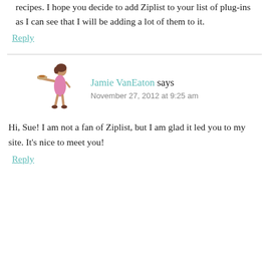recipes. I hope you decide to add Ziplist to your list of plug-ins as I can see that I will be adding a lot of them to it.
Reply
Jamie VanEaton says
November 27, 2012 at 9:25 am
Hi, Sue! I am not a fan of Ziplist, but I am glad it led you to my site. It's nice to meet you!
Reply